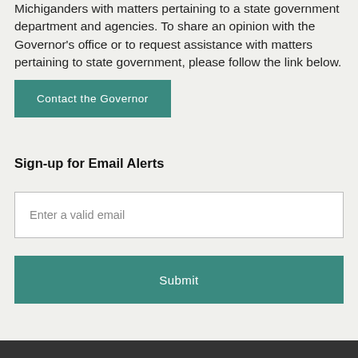Michiganders with matters pertaining to a state government department and agencies. To share an opinion with the Governor's office or to request assistance with matters pertaining to state government, please follow the link below.
Contact the Governor
Sign-up for Email Alerts
Enter a valid email
Submit